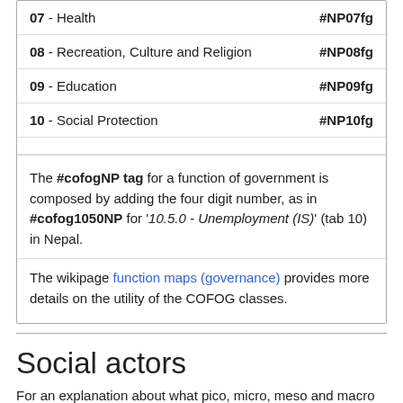| Category | Tag |
| --- | --- |
| 07 - Health | #NP07fg |
| 08 - Recreation, Culture and Religion | #NP08fg |
| 09 - Education | #NP09fg |
| 10 - Social Protection | #NP10fg |
The #cofogNP tag for a function of government is composed by adding the four digit number, as in #cofog1050NP for '10.5.0 - Unemployment (IS)' (tab 10) in Nepal.
The wikipage function maps (governance) provides more details on the utility of the COFOG classes.
Social actors
For an explanation about what pico, micro, meso and macro means